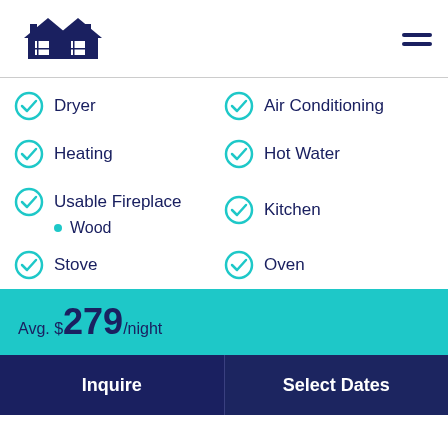[Figure (logo): Two overlapping house icons in dark navy blue, forming a logo]
Dryer
Air Conditioning
Heating
Hot Water
Usable Fireplace
Wood
Kitchen
Stove
Oven
Avg. $279/night
Inquire
Select Dates